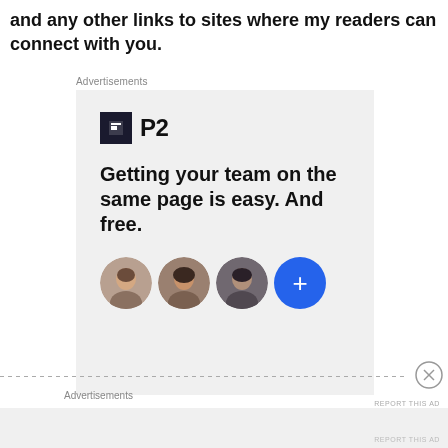and any other links to sites where my readers can connect with you.
Advertisements
[Figure (screenshot): Advertisement for P2 product showing logo, headline 'Getting your team on the same page is easy. And free.' and three circular profile photos plus a blue plus button.]
REPORT THIS AD
Advertisements